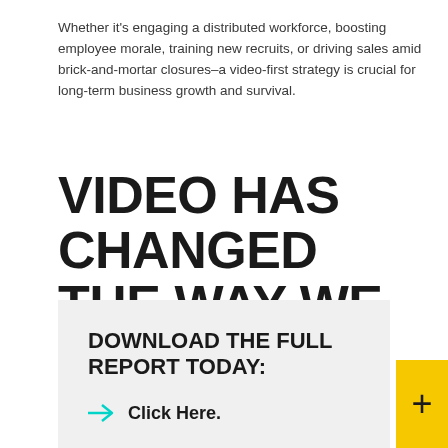Whether it's engaging a distributed workforce, boosting employee morale, training new recruits, or driving sales amid brick-and-mortar closures–a video-first strategy is crucial for long-term business growth and survival.
VIDEO HAS CHANGED THE WAY WE WORK FOR GOOD
DOWNLOAD THE FULL REPORT TODAY:
→ Click Here.